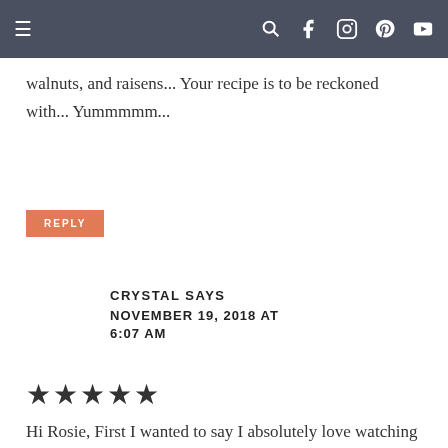Navigation bar with menu, search, facebook, instagram, pinterest, youtube icons
walnuts, and raisens... Your recipe is to be reckoned with... Yummmmm...
REPLY
CRYSTAL SAYS
NOVEMBER 19, 2018 AT 6:07 AM
[Figure (other): Five filled star rating icons]
Hi Rosie, First I wanted to say I absolutely love watching your videos!! Thank you for sharing your recipes. Ok so,